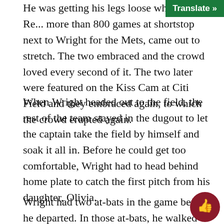He was getting his legs loose when Jose Re... more than 800 games at shortstop next to Wright for the Mets, came out to stretch. The two embraced and the crowd loved every second of it. The two later were featured on the Kiss Cam at Citi Field and they embraced again, to which the crowd erupted again.
When Wright headed out to the field, the rest of the team stayed in the dugout to let the captain take the field by himself and soak it all in. Before he could get too comfortable, Wright had to head behind home plate to catch the first pitch from his daughter, Olivia.
Wright had two at-bats in the game before he departed. In those at-bats, he walked and popped out to first baseman Peter O’Brien, who became public enemy number one in Queens after he made the play at the railing.
Wright took the field for the top of the fifth. Before the inning officially began, Mets Manager Mickey Callaway...